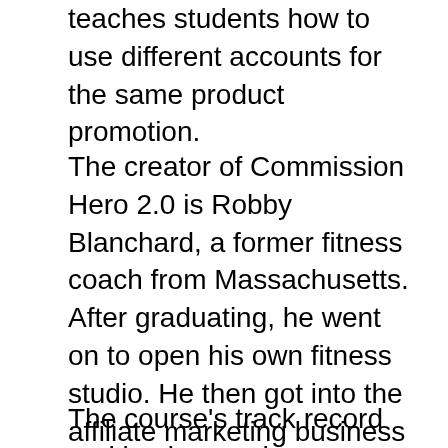teaches students how to use different accounts for the same product promotion.
The creator of Commission Hero 2.0 is Robby Blanchard, a former fitness coach from Massachusetts. After graduating, he went on to open his own fitness studio. He then got into the affiliate marketing business after learning how to make several thousand dollars a day. Robby Blanchard is now CEO of Blanchard Media, a company that offers millions of dollars in affiliate marketing. Robby Blanchard is also the creator of two other products that have achieved worldwide fame.
The course's track record and background are extensive. There are also testimonials